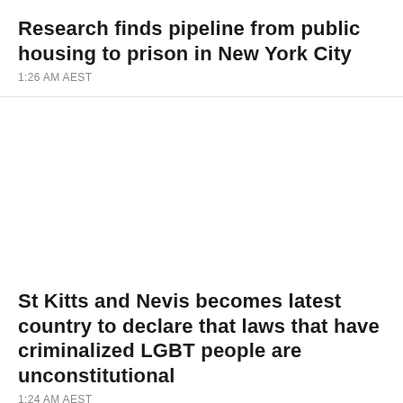Research finds pipeline from public housing to prison in New York City
1:26 AM AEST
St Kitts and Nevis becomes latest country to declare that laws that have criminalized LGBT people are unconstitutional
1:24 AM AEST